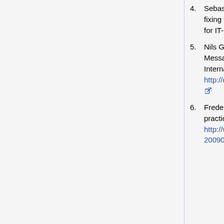4. Sebastian Gajek, Lijun Liao, and Jörg Schwenk. Breaking and fixing the inline approach. Technical report, Horst G̈rtz Institute for IT-Security, 44780 Bochum, Germany, 2007.
5. Nils Gruschka and Luigi Lo Iacono. Vulnerable Cloud: SOAP Message Security Validation Revisited. In Proceedings of the IEEE International Conference on Web Services, 2009. http://cs.uccs.edu/~gsc/pub/phd/chow/doc/vulnerableCloud2009.pdf
6. Frederick Hirsch and Pratik Datta. Xml signature best practices. http://www.w3.org/TR/2009/WD-xmldsig-bestpractices-20090226/ 2010. Accessed 01